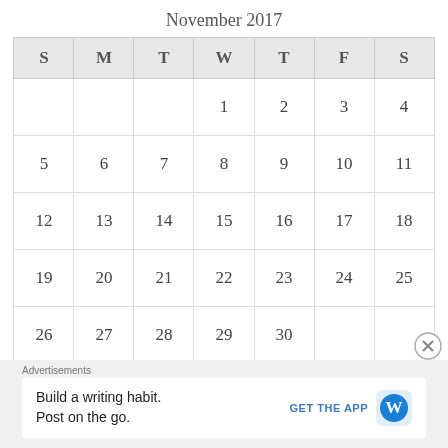November 2017
| S | M | T | W | T | F | S |
| --- | --- | --- | --- | --- | --- | --- |
|  |  |  | 1 | 2 | 3 | 4 |
| 5 | 6 | 7 | 8 | 9 | 10 | 11 |
| 12 | 13 | 14 | 15 | 16 | 17 | 18 |
| 19 | 20 | 21 | 22 | 23 | 24 | 25 |
| 26 | 27 | 28 | 29 | 30 |  |  |
Advertisements
Build a writing habit. Post on the go. GET THE APP